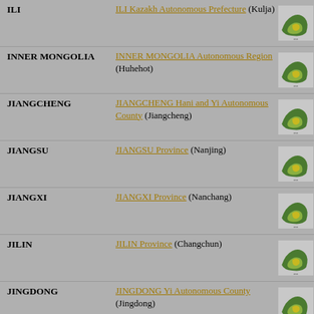ILI — ILI Kazakh Autonomous Prefecture (Kulja)
INNER MONGOLIA — INNER MONGOLIA Autonomous Region (Huhehot)
JIANGCHENG — JIANGCHENG Hani and Yi Autonomous County (Jiangcheng)
JIANGSU — JIANGSU Province (Nanjing)
JIANGXI — JIANGXI Province (Nanchang)
JILIN — JILIN Province (Changchun)
JINGDONG — JINGDONG Yi Autonomous County (Jingdong)
JINGGU — JINGGU Tai and Yi Autonomous County (Jinggu)
JINGNING — JINGNING She Autonomous County (Hexi)
JINPING — JINPING Miao Yao and Tai ...